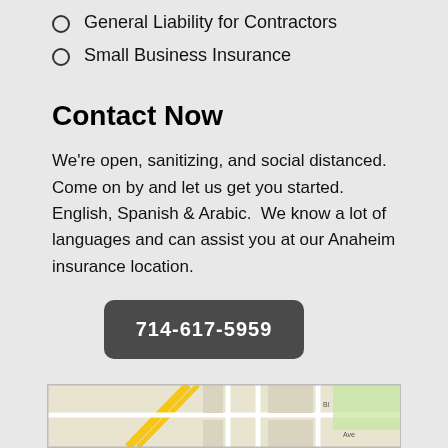General Liability for Contractors
Small Business Insurance
Contact Now
We're open, sanitizing, and social distanced.  Come on by and let us get you started.  English, Spanish & Arabic.  We know a lot of languages and can assist you at our Anaheim insurance location.
714-617-5959
Our Address
[Figure (map): Street map showing the Anaheim insurance location with road names visible including Ave and other streets]